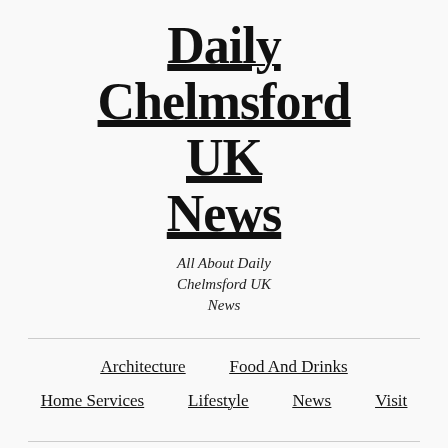Daily Chelmsford UK News
All About Daily Chelmsford UK News
Architecture
Food And Drinks
Home Services
Lifestyle
News
Visit
Easy Solutions To Lead